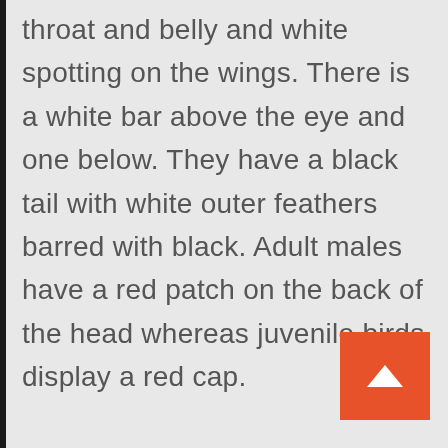throat and belly and white spotting on the wings. There is a white bar above the eye and one below. They have a black tail with white outer feathers barred with black. Adult males have a red patch on the back of the head whereas juvenile birds display a red cap.

The downy woodpecker is virtually identical in plumage pattern to the larger hairy woodpecker, but it can be distinguished from the hairy by the presence of black spots on its white t[ail] feathers and the length of its bill. The